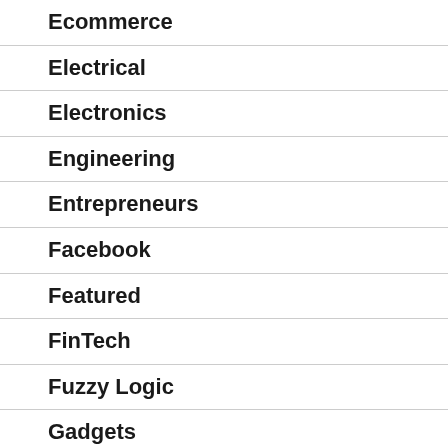Ecommerce
Electrical
Electronics
Engineering
Entrepreneurs
Facebook
Featured
FinTech
Fuzzy Logic
Gadgets
Games
Gmail
Google